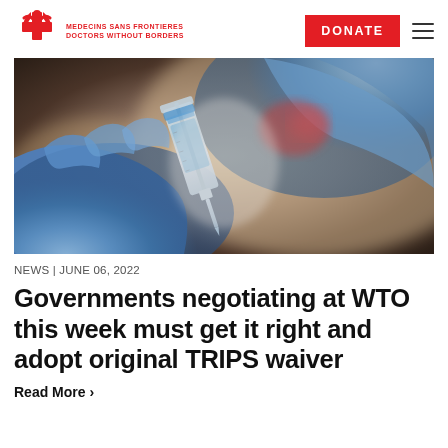MEDECINS SANS FRONTIERES DOCTORS WITHOUT BORDERS
[Figure (photo): Close-up photo of gloved hands in blue latex gloves holding a medical syringe with needle, preparing a vaccine or injection. Blurred background with medical setting.]
NEWS | JUNE 06, 2022
Governments negotiating at WTO this week must get it right and adopt original TRIPS waiver
Read More >